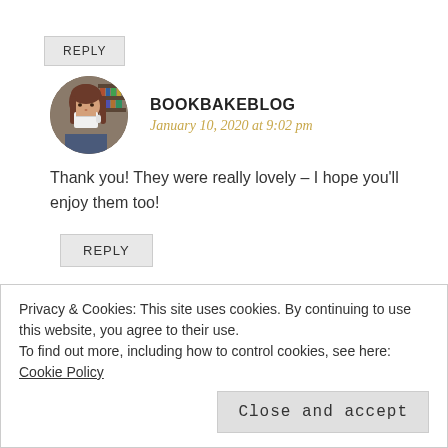REPLY
BOOKBAKEBLOG
January 10, 2020 at 9:02 pm
Thank you! They were really lovely – I hope you'll enjoy them too!
REPLY
Privacy & Cookies: This site uses cookies. By continuing to use this website, you agree to their use.
To find out more, including how to control cookies, see here: Cookie Policy
Close and accept